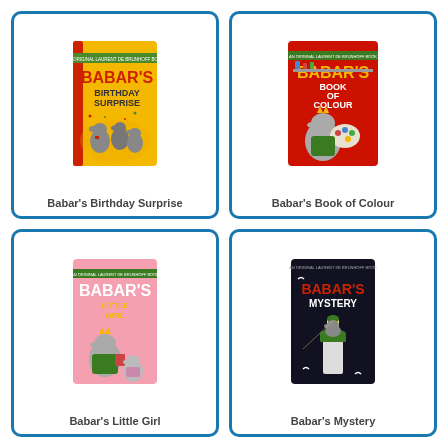[Figure (illustration): Book cover: Babar's Birthday Surprise - yellow cover with red spine, elephants celebrating]
Babar's Birthday Surprise
[Figure (illustration): Book cover: Babar's Book of Colour - red cover, elephant with paint and art supplies]
Babar's Book of Colour
[Figure (illustration): Book cover: Babar's Little Girl - pink cover, elephant holding a small girl elephant]
Babar's Little Girl
[Figure (illustration): Book cover: Babar's Mystery - dark/black cover, elephant at a lighthouse]